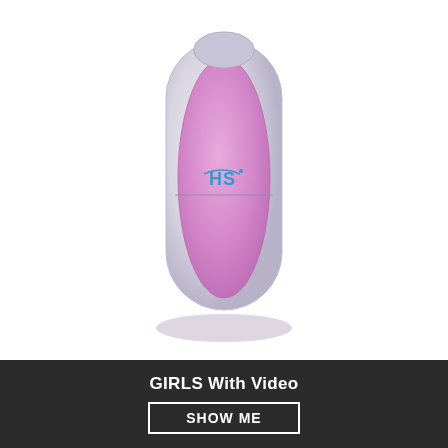[Figure (photo): A handheld personal care device (likely an epilator or trimmer) with a silver and purple/pink body, branded with 'HS' logo in blue, photographed on a white background with a soft shadow beneath it.]
GIRLS With Video
SHOW ME